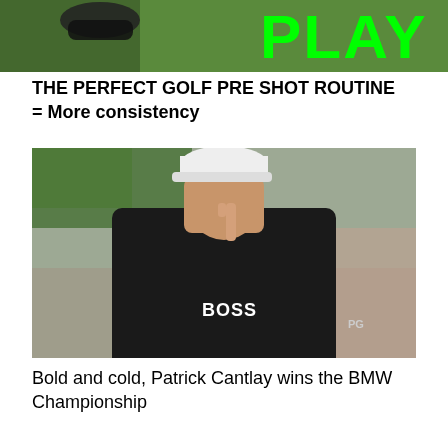[Figure (photo): Partial image showing a shoe on green grass with bold green text 'PLAY' visible at the top of the page.]
THE PERFECT GOLF PRE SHOT ROUTINE = More consistency
[Figure (photo): Patrick Cantlay in a black BOSS polo shirt with his finger raised to his lips in a 'shush' gesture, crowd in background.]
Bold and cold, Patrick Cantlay wins the BMW Championship